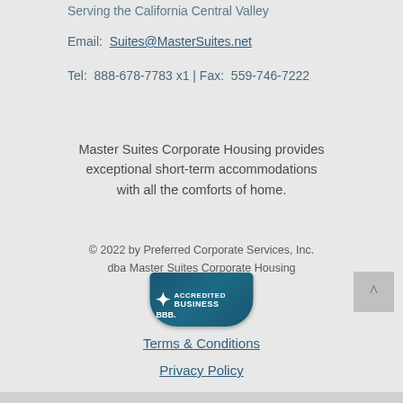Serving the California Central Valley
Email:  Suites@MasterSuites.net
Tel:  888-678-7783 x1 | Fax:  559-746-7222
Master Suites Corporate Housing provides exceptional short-term accommodations with all the comforts of home.
© 2022 by Preferred Corporate Services, Inc.
dba Master Suites Corporate Housing
[Figure (logo): BBB Accredited Business badge with teal/dark blue background]
Terms & Conditions
Privacy Policy